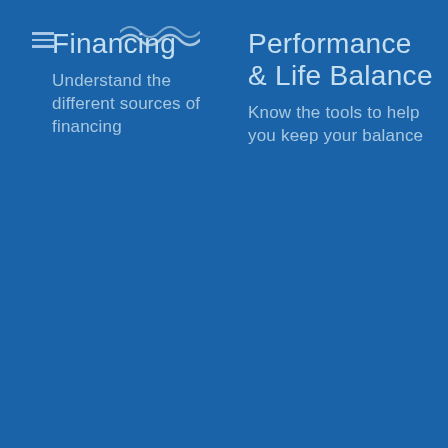[Figure (illustration): Hamburger menu icon (three horizontal lines)]
[Figure (illustration): Wave/water decorative icon above Financing title]
Financing
Understand the different sources of financing
Performance & Life Balance
Know the tools to help you keep your balance